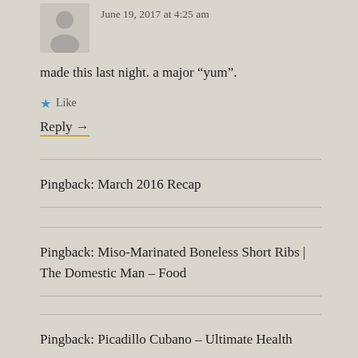[Figure (illustration): Gray avatar/user silhouette icon]
June 19, 2017 at 4:25 am
made this last night. a major “yum”.
★ Like
Reply →
Pingback: March 2016 Recap
Pingback: Miso-Marinated Boneless Short Ribs | The Domestic Man – Food
Pingback: Picadillo Cubano – Ultimate Health